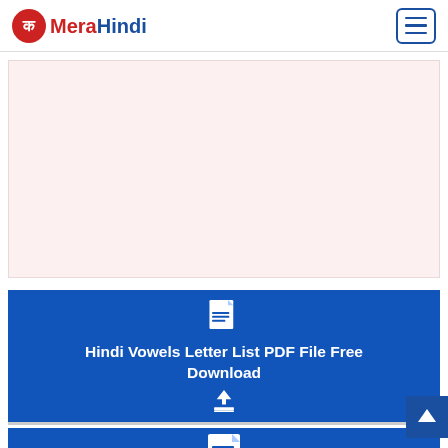MeraHindi
[Figure (other): Light pink/rose advertisement placeholder area]
[Figure (other): Blue download card with document icon and download arrow icon — Hindi Vowels Letter List PDF File Free Download]
Hindi Vowels Letter List PDF File Free Download
[Figure (other): Second blue download card (partially visible at bottom)]